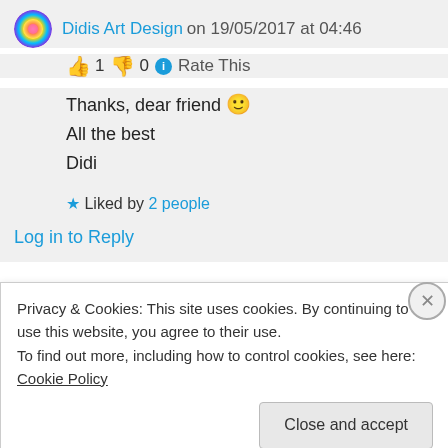Didis Art Design on 19/05/2017 at 04:46
👍 1 👎 0 ℹ Rate This
Thanks, dear friend 🙂
All the best
Didi
★ Liked by 2 people
Log in to Reply
da-AL on 20/05/2017 at 05:18
Privacy & Cookies: This site uses cookies. By continuing to use this website, you agree to their use.
To find out more, including how to control cookies, see here: Cookie Policy
Close and accept